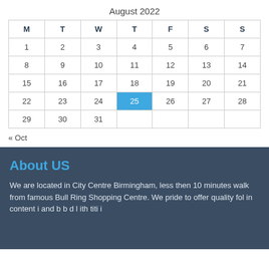August 2022
| M | T | W | T | F | S | S |
| --- | --- | --- | --- | --- | --- | --- |
| 1 | 2 | 3 | 4 | 5 | 6 | 7 |
| 8 | 9 | 10 | 11 | 12 | 13 | 14 |
| 15 | 16 | 17 | 18 | 19 | 20 | 21 |
| 22 | 23 | 24 | 25 | 26 | 27 | 28 |
| 29 | 30 | 31 |  |  |  |  |
« Oct
About US
We are located in City Centre Birmingham, less then 10 minutes walk from famous Bull Ring Shopping Centre. We pride to offer quality fol in content i and b b d l ith titi i